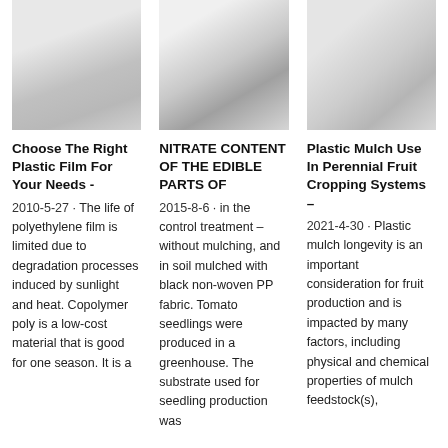[Figure (photo): White/light-colored plastic film material, close-up photo]
[Figure (photo): White/light-colored plastic or fabric material, close-up photo with dark edge]
[Figure (photo): White/light-colored plastic mulch material, close-up photo]
Choose The Right Plastic Film For Your Needs -
2010-5-27 · The life of polyethylene film is limited due to degradation processes induced by sunlight and heat. Copolymer poly is a low-cost material that is good for one season. It is a
NITRATE CONTENT OF THE EDIBLE PARTS OF
2015-8-6 · in the control treatment – without mulching, and in soil mulched with black non-woven PP fabric. Tomato seedlings were produced in a greenhouse. The substrate used for seedling production was
Plastic Mulch Use In Perennial Fruit Cropping Systems –
2021-4-30 · Plastic mulch longevity is an important consideration for fruit production and is impacted by many factors, including physical and chemical properties of mulch feedstock(s),